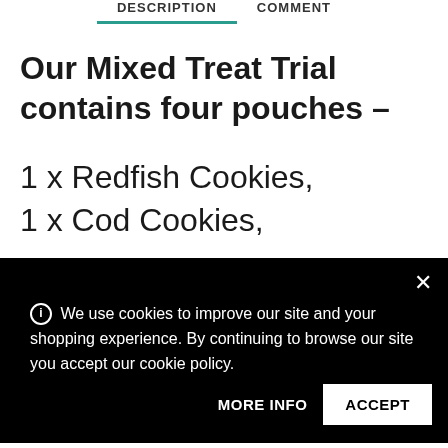DESCRIPTION   COMMENT
Our Mixed Treat Trial contains four pouches –

1 x Redfish Cookies,
1 x Cod Cookies,
We use cookies to improve our site and your shopping experience. By continuing to browse our site you accept our cookie policy.
grain or soy.